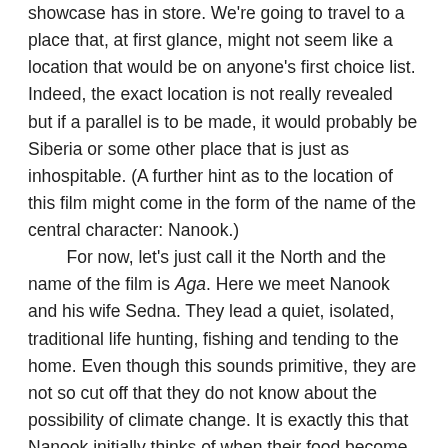showcase has in store. We're going to travel to a place that, at first glance, might not seem like a location that would be on anyone's first choice list. Indeed, the exact location is not really revealed but if a parallel is to be made, it would probably be Siberia or some other place that is just as inhospitable. (A further hint as to the location of this film might come in the form of the name of the central character: Nanook.)
    For now, let's just call it the North and the name of the film is Aga. Here we meet Nanook and his wife Sedna. They lead a quiet, isolated, traditional life hunting, fishing and tending to the home. Even though this sounds primitive, they are not so cut off that they do not know about the possibility of climate change. It is exactly this that Nanook initially thinks of when their food become harder to come by.
    Their two children have long since moved away, preferring to live a more modern, opportunistic life. Though